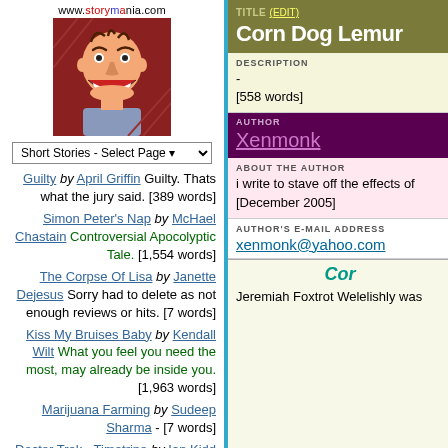[Figure (logo): Storymania.com logo with illustrated smiling man face on red background, website URL above]
Short Stories - Select Page
Guilty by April Griffin Guilty. Thats what the jury said. [389 words]
Simon Peter's Nap by McHael Chastain Controversial Apocolyptic Tale. [1,554 words]
The Corpse Of Lisa by Janette Dejesus Sorry had to delete as not enough reviews or hits. [7 words]
Kiss My Bruises Baby by Kendall Wilt What you feel you need the most, may already be inside you. [1,963 words]
Marijuana Farming by Sudeep Sharma - [7 words]
Doctor Trek - Timetripe by Ian Kidd Captain Who, Frobisher
TITLE (EDIT)
Corn Dog Lemur
DESCRIPTION
-
[558 words]
AUTHOR
Xenmonk
ABOUT THE AUTHOR
i write to stave off the effects of [December 2005]
AUTHOR'S E-MAIL ADDRESS
xenmonk@yahoo.com
Corn
Jeremiah Foxtrot Welelishly was